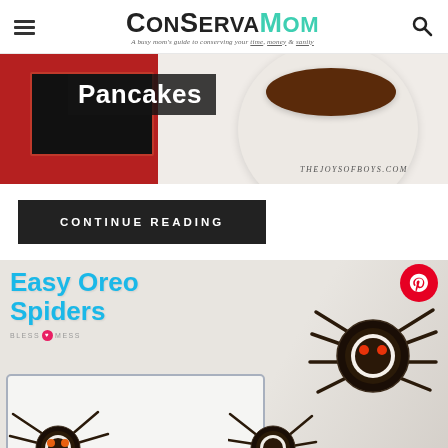ConservaMom — A busy mom's guide to conserving your time, money & sanity
[Figure (photo): Pancakes food blog post image with a chocolate pancake on a plate, red background, batman-themed card, THEJOY​SOFBOYS.COM watermark, and 'Pancakes' label overlay]
CONTINUE READING
[Figure (photo): Easy Oreo Spiders recipe image showing Oreo cookies decorated as spiders with licorice legs and candy eyes, on a white tray and marble surface, from Bless This Mess]